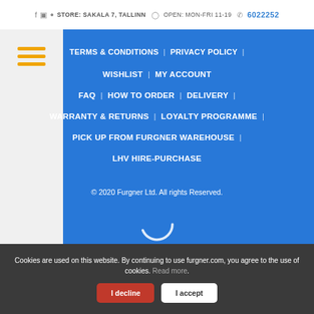STORE: SAKALA 7, TALLINN  OPEN: MON-FRI 11-19  6022252
[Figure (other): Hamburger menu icon with three orange horizontal lines on light gray background]
TERMS & CONDITIONS  |  PRIVACY POLICY  |
WISHLIST  |  MY ACCOUNT
FAQ  |  HOW TO ORDER  |  DELIVERY  |
WARRANTY & RETURNS  |  LOYALTY PROGRAMME  |
PICK UP FROM FURGNER WAREHOUSE  |
LHV HIRE-PURCHASE
© 2020 Furgner Ltd. All rights Reserved.
[Figure (other): Loading spinner animation arc on blue background]
Cookies are used on this website. By continuing to use furgner.com, you agree to the use of cookies. Read more.